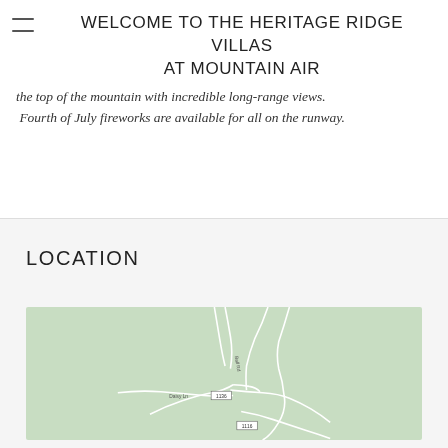WELCOME TO THE HERITAGE RIDGE VILLAS AT MOUNTAIN AIR
the top of the mountain with incredible long-range views. Fourth of July fireworks are available for all on the runway.
LOCATION
[Figure (map): Street map showing Daisy Ln, Ball Rd, route markers 1136 and 1116, with light green background and white road lines]